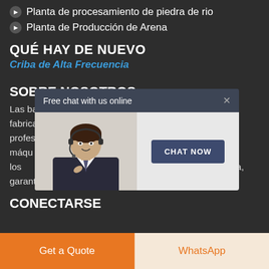Planta de procesamiento de piedra de rio
Planta de Producción de Arena
QUÉ HAY DE NUEVO
Criba de Alta Frecuencia
SOBRE NOSOTROS
Las bases... encia de fabricación... istigación profesion... didad de las máqu... oductos como los... s las demandas de esta industria, garantizando la calidad y la entrega de los equipos.
[Figure (screenshot): Chat popup overlay with 'Free chat with us online' header, a customer service representative photo, and a 'CHAT NOW' button]
CONECTARSE
Get a Quote
WhatsApp